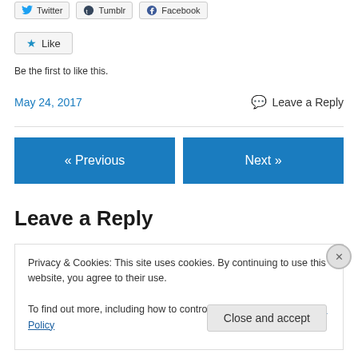[Figure (other): Social share buttons: Twitter, Tumblr, Facebook]
[Figure (other): Like button with star icon]
Be the first to like this.
May 24, 2017
Leave a Reply
« Previous
Next »
Leave a Reply
Privacy & Cookies: This site uses cookies. By continuing to use this website, you agree to their use.
To find out more, including how to control cookies, see here: Cookie Policy
Close and accept